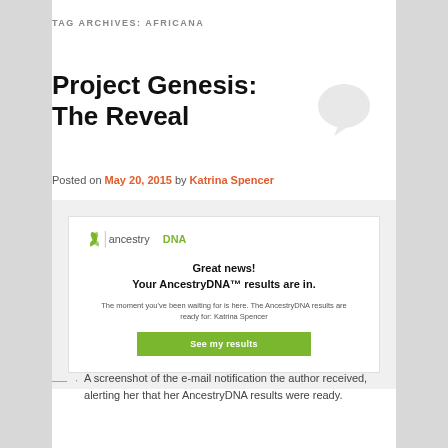TAG ARCHIVES: AFRICANA
Project Genesis: The Reveal
Posted on May 20, 2015 by Katrina Spencer
[Figure (screenshot): Screenshot of an AncestryDNA email notification with logo, headline 'Great news! Your AncestryDNA™ results are in.', body text, and a green 'See my results' button.]
A screenshot of the e-mail notification the author received, alerting her that her AncestryDNA results were ready.